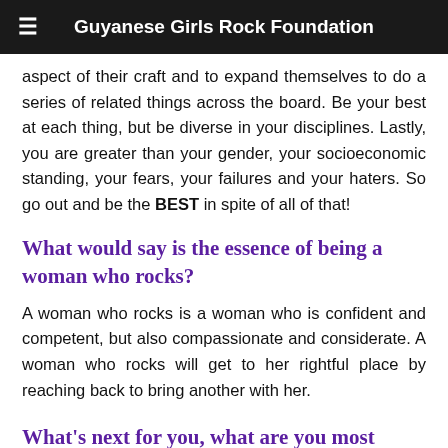Guyanese Girls Rock Foundation
aspect of their craft and to expand themselves to do a series of related things across the board. Be your best at each thing, but be diverse in your disciplines. Lastly, you are greater than your gender, your socioeconomic standing, your fears, your failures and your haters. So go out and be the BEST in spite of all of that!
What would say is the essence of being a woman who rocks?
A woman who rocks is a woman who is confident and competent, but also compassionate and considerate. A woman who rocks will get to her rightful place by reaching back to bring another with her.
What's next for you, what are you most looking